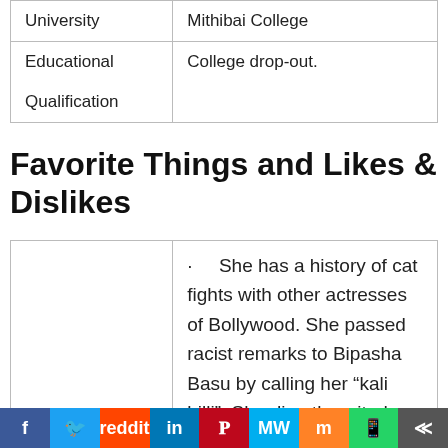| University | Mithibai College |
| Educational Qualification | College drop-out. |
Favorite Things and Likes & Dislikes
|  | · She has a history of cat fights with other actresses of Bollywood. She passed racist remarks to Bipasha Basu by calling her “kali billi”. She directly naited finguree at |